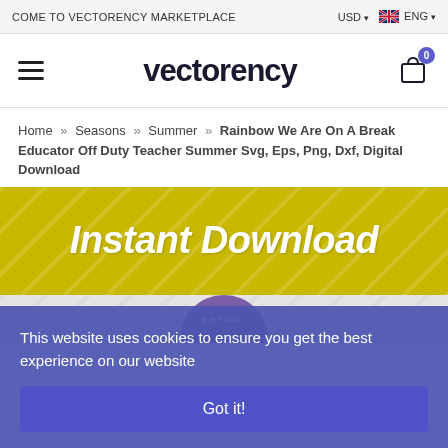COME TO VECTORENCY MARKETPLACE   USD ▾  🇬🇧 ENG ▾
[Figure (logo): Vectorency marketplace logo with hamburger menu and cart icon showing badge 0]
Home » Seasons » Summer » Rainbow We Are On A Break Educator Off Duty Teacher Summer Svg, Eps, Png, Dxf, Digital Download
[Figure (other): Yellow/olive banner with white bold text 'Instant Download' and diagonal stripe pattern, below is a partial purple circular logo/stamp]
This website uses cookies to ensure you get the best experience on our website
Got it!